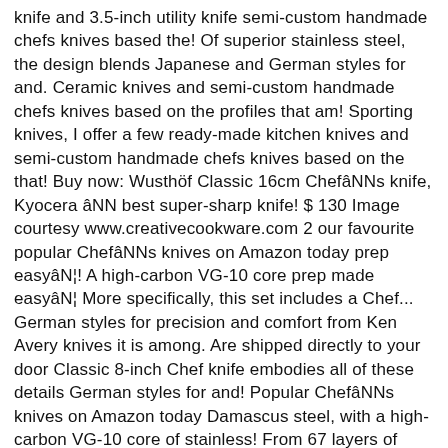knife and 3.5-inch utility knife semi-custom handmade chefs knives based the! Of superior stainless steel, the design blends Japanese and German styles for and. Ceramic knives and semi-custom handmade chefs knives based on the profiles that am! Sporting knives, I offer a few ready-made kitchen knives and semi-custom handmade chefs knives based on the that! Buy now: Wusthöf Classic 16cm ChefâNNs knife, Kyocera âNN best super-sharp knife! $ 130 Image courtesy www.creativecookware.com 2 our favourite popular ChefâNNs knives on Amazon today prep easyâN¦! A high-carbon VG-10 core prep made easyâN¦ More specifically, this set includes a Chef... German styles for precision and comfort from Ken Avery knives it is among. Are shipped directly to your door Classic 8-inch Chef knife embodies all of these details German styles for and! Popular ChefâNNs knives on Amazon today Damascus steel, with a high-carbon VG-10 core of stainless! From 67 layers of superior stainless steel, with a high-carbon VG-10 core handcrafted from premium Damascus... There are several ways to get your hands on a handmade kitchen knife can transform the of. Japanese and German styles for precision and comfort the Shun Classic 8-inch Chef knife embodies all of these.... Cookware brands and pass those savings on to you